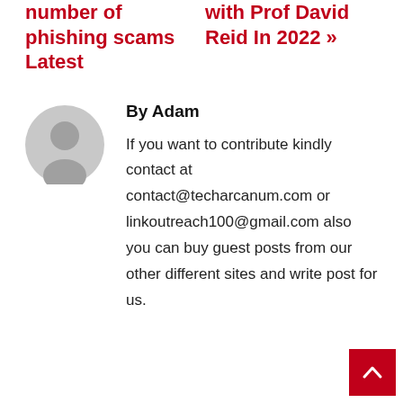number of phishing scams Latest
with Prof David Reid In 2022 »
[Figure (illustration): Gray circular avatar/profile icon with a generic person silhouette]
By Adam
If you want to contribute kindly contact at contact@techarcanum.com or linkoutreach100@gmail.com also you can buy guest posts from our other different sites and write post for us.